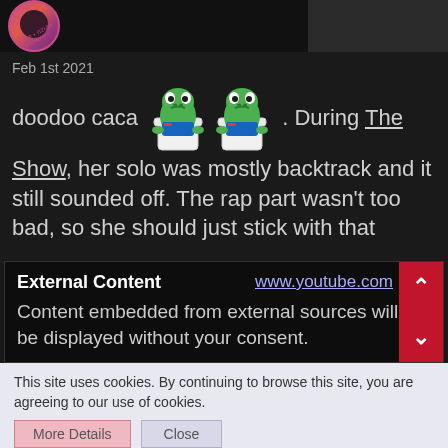[Figure (screenshot): Top image bar showing circular avatar with pink/red K-pop style logo and a photo on the right, on dark background]
Feb 1st 2021
doodoo caca [pepe frog emojis] . During The Show, her solo was mostly backtrack and it still sounded off. The rap part wasn't too bad, so she should just stick with that
External Content
www.youtube.com
Content embedded from external sources will not be displayed without your consent.
This site uses cookies. By continuing to browse this site, you are agreeing to our use of cookies.
More Details   Close